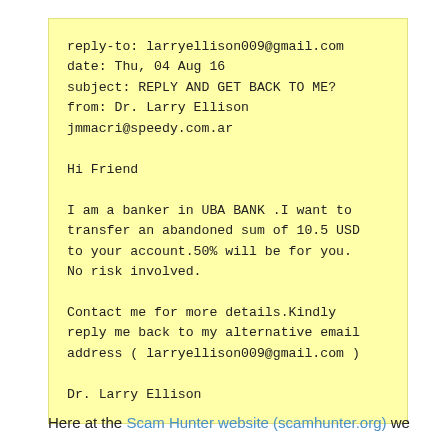reply-to: larryellison009@gmail.com
date: Thu, 04 Aug 16
subject: REPLY AND GET BACK TO ME?
from: Dr. Larry Ellison
jmmacri@speedy.com.ar

Hi Friend

I am a banker in UBA BANK .I want to transfer an abandoned sum of 10.5 USD to your account.50% will be for you. No risk involved.

Contact me for more details.Kindly reply me back to my alternative email address ( larryellison009@gmail.com )

Dr. Larry Ellison
Here at the Scam Hunter website (scamhunter.org) we